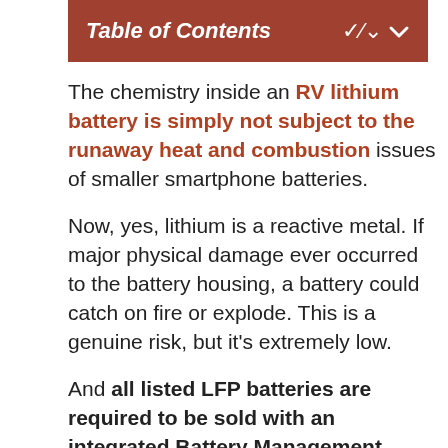Table of Contents
The chemistry inside an RV lithium battery is simply not subject to the runaway heat and combustion issues of smaller smartphone batteries.
Now, yes, lithium is a reactive metal. If major physical damage ever occurred to the battery housing, a battery could catch on fire or explode. This is a genuine risk, but it’s extremely low.
And all listed LFP batteries are required to be sold with an integrated Battery Management System (BMS) to prevent